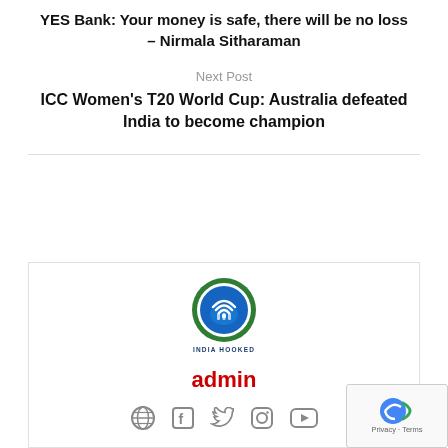YES Bank: Your money is safe, there will be no loss – Nirmala Sitharaman
Next Post
ICC Women's T20 World Cup: Australia defeated India to become champion
[Figure (logo): Circular logo with wifi/building icon in blue and green, with text 'INDIA HOOKED' below]
admin
[Figure (infographic): Social media icons: globe, Facebook, Twitter, Instagram, YouTube]